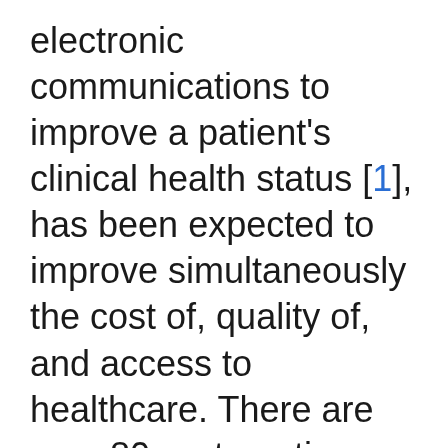electronic communications to improve a patient's clinical health status [1], has been expected to improve simultaneously the cost of, quality of, and access to healthcare. There are over 80 systematic reviews on the effectiveness of telemedicine and more than 20 of them reporting conclusively that telemedicine is effective [2] in